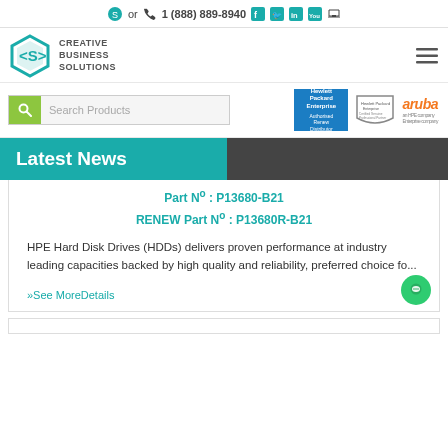or 1 (888) 889-8940
[Figure (logo): Creative Business Solutions hexagon logo with text CREATIVE BUSINESS SOLUTIONS]
[Figure (screenshot): Search Products input box with green search icon button]
[Figure (logo): HP Enterprise Authorized Renew Distributor badge, Hewlett Packard Enterprise Certified badge, Aruba an HPE company logo]
Latest News
Part No : P13680-B21
RENEW Part No : P13680R-B21
HPE Hard Disk Drives (HDDs) delivers proven performance at industry leading capacities backed by high quality and reliability, preferred choice fo...
»See MoreDetails